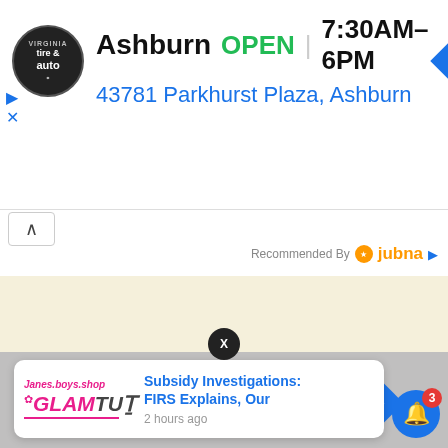[Figure (screenshot): Mobile app advertisement banner for a tire and auto service in Ashburn, showing store name, open status, hours, address, and navigation icon]
Ashburn  OPEN  |  7:30AM–6PM
43781 Parkhurst Plaza, Ashburn
Recommended By  jubna
[Figure (screenshot): Beige/cream colored map area background]
[Figure (screenshot): GlamTush notification card showing article: Subsidy Investigations: FIRS Explains, Our — 2 hours ago]
Subsidy Investigations: FIRS Explains, Our
2 hours ago